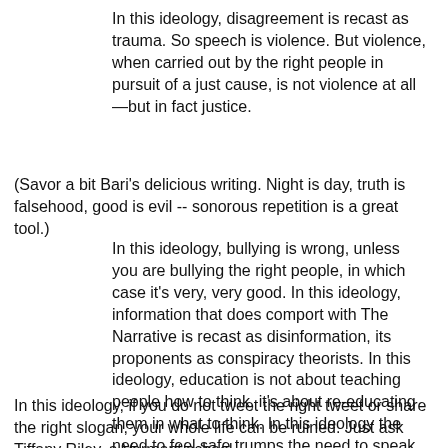In this ideology, disagreement is recast as trauma. So speech is violence. But violence, when carried out by the right people in pursuit of a just cause, is not violence at all—but in fact justice.
(Savor a bit Bari's delicious writing. Night is day, truth is falsehood, good is evil -- sonorous repetition is a great tool.)
In this ideology, bullying is wrong, unless you are bullying the right people, in which case it's very, very good. In this ideology, information that does comport with The Narrative is recast as disinformation, its proponents as conspiracy theorists. In this ideology, education is not about teaching people how to think, it's about re-educating them in what to think. In this ideology the need to feel safe trumps the need to speak truthfully.
In this ideology, if you do not tweet the right tweet or share the right slogan, your whole life can be ruined. Just ask Tiffany Riley, a Vermont school